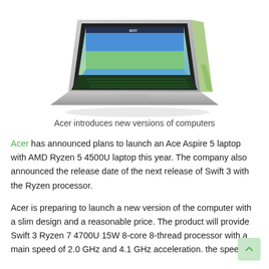[Figure (photo): Acer laptop (Aspire/Swift) shown in a floating perspective angle, silver/grey chassis, green keyboard backlight, screen showing colorful desktop wallpaper, displayed against white background with subtle shadow]
Acer introduces new versions of computers
Acer has announced plans to launch an Ace Aspire 5 laptop with AMD Ryzen 5 4500U laptop this year. The company also announced the release date of the next release of Swift 3 with the Ryzen processor.
Acer is preparing to launch a new version of the computer with a slim design and a reasonable price. The product will provide Swift 3 Ryzen 7 4700U 15W 8-core 8-thread processor with a main speed of 2.0 GHz and 4.1 GHz acceleration. the speed